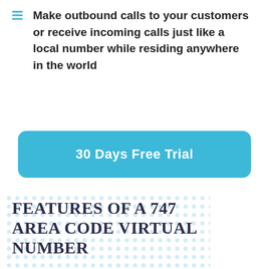Make outbound calls to your customers or receive incoming calls just like a local number while residing anywhere in the world
30 Days Free Trial
FEATURES OF A 747 AREA CODE VIRTUAL NUMBER
If you are planning to purchase a 747 area code virtual number from MCM, you are in for treat! You will be enjoying the following features with your purchase: